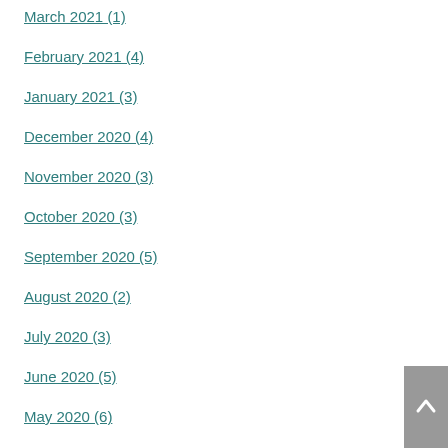March 2021 (1)
February 2021 (4)
January 2021 (3)
December 2020 (4)
November 2020 (3)
October 2020 (3)
September 2020 (5)
August 2020 (2)
July 2020 (3)
June 2020 (5)
May 2020 (6)
April 2020 (6)
March 2020 (3)